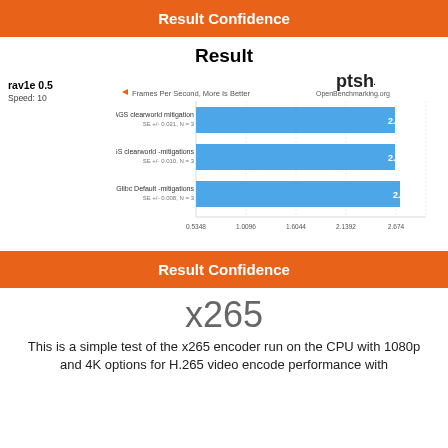Result Confidence
Result
rav1e 0.5
Speed: 10
[Figure (bar-chart): Frames Per Second, More Is Better]
Result Confidence
x265
This is a simple test of the x265 encoder run on the CPU with 1080p and 4K options for H.265 video encode performance with